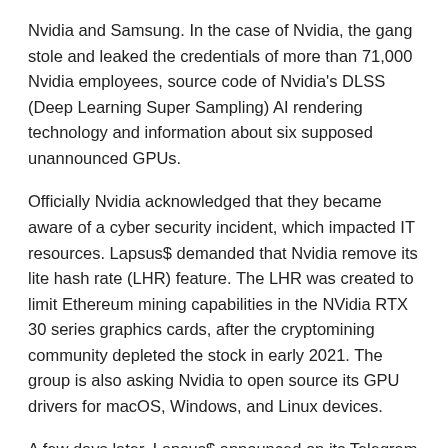Nvidia and Samsung. In the case of Nvidia, the gang stole and leaked the credentials of more than 71,000 Nvidia employees, source code of Nvidia's DLSS (Deep Learning Super Sampling) AI rendering technology and information about six supposed unannounced GPUs.
Officially Nvidia acknowledged that they became aware of a cyber security incident, which impacted IT resources. Lapsus$ demanded that Nvidia remove its lite hash rate (LHR) feature. The LHR was created to limit Ethereum mining capabilities in the NVidia RTX 30 series graphics cards, after the cryptomining community depleted the stock in early 2021. The group is also asking Nvidia to open source its GPU drivers for macOS, Windows, and Linux devices.
A few days later, Lapsus$ announced on its Telegram channel that it had breached Samsung and offered evidence including biometric authentication information and source code from both Samsung and one of its suppliers, Qualcomm.
Since they appear to be succeeding, Lapsus$ announced that